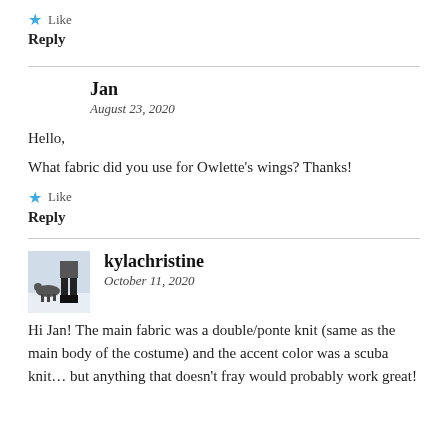[Figure (other): Star/like icon (cyan star) with 'Like' text]
Reply
Jan
August 23, 2020
Hello,
What fabric did you use for Owlette's wings? Thanks!
[Figure (other): Star/like icon (cyan star) with 'Like' text]
Reply
[Figure (photo): Avatar photo of kylachristine showing legs and a dog in snow]
kylachristine
October 11, 2020
Hi Jan! The main fabric was a double/ponte knit (same as the main body of the costume) and the accent color was a scuba knit… but anything that doesn't fray would probably work great!